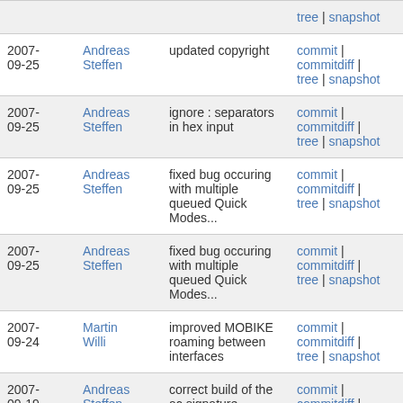| date | author | description | links |
| --- | --- | --- | --- |
|  |  |  | tree | snapshot |
| 2007-09-25 | Andreas Steffen | updated copyright | commit | commitdiff | tree | snapshot |
| 2007-09-25 | Andreas Steffen | ignore : separators in hex input | commit | commitdiff | tree | snapshot |
| 2007-09-25 | Andreas Steffen | fixed bug occuring with multiple queued Quick Modes... | commit | commitdiff | tree | snapshot |
| 2007-09-25 | Andreas Steffen | fixed bug occuring with multiple queued Quick Modes... | commit | commitdiff | tree | snapshot |
| 2007-09-24 | Martin Willi | improved MOBIKE roaming between interfaces | commit | commitdiff | tree | snapshot |
| 2007-09-19 | Andreas Steffen | correct build of the ac signature | commit | commitdiff | tree | snapshot |
| 2007-09-18 | Andreas Steffen | replace sizeof(buf) by BUF_LEN | commit | commitdiff | |